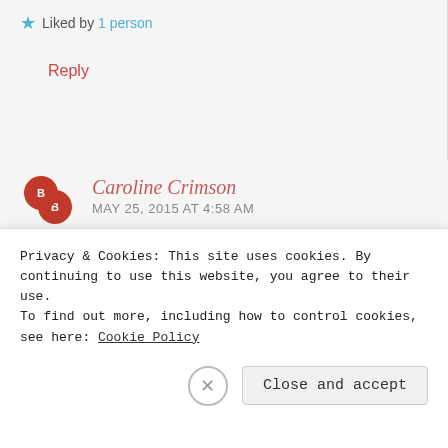★ Liked by 1 person
Reply
Caroline Crimson
MAY 25, 2015 AT 4:58 AM
It is quite something! So sorry not to be at the party, and about the cake – what a difference a
Privacy & Cookies: This site uses cookies. By continuing to use this website, you agree to their use.
To find out more, including how to control cookies, see here: Cookie Policy
Close and accept